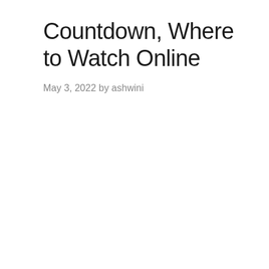Countdown, Where to Watch Online
May 3, 2022 by ashwini